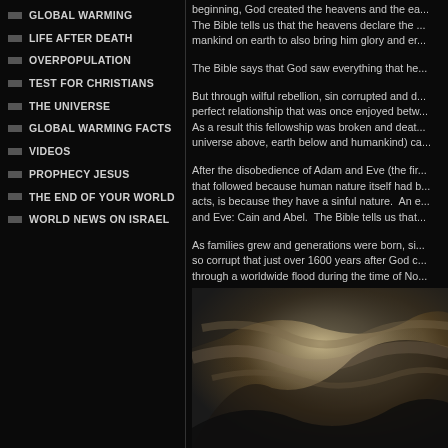GLOBAL WARMING
LIFE AFTER DEATH
OVERPOPULATION
TEST FOR CHRISTIANS
THE UNIVERSE
GLOBAL WARMING FACTS
VIDEOS
PROPHECY JESUS
THE END OF YOUR WORLD
WORLD NEWS ON ISRAEL
beginning, God created the heavens and the ea... The Bible tells us that the heavens declare the ... mankind on earth to also bring him glory and er...
The Bible says that God saw everything that he...
But through wilful rebellion, sin corrupted and d... perfect relationship that was once enjoyed betw... As a result this fellowship was broken and deat... universe above, earth below and humankind) ca...
After the disobedience of Adam and Eve (the fir... that followed because human nature itself had b... acts, is because they have a sinful nature. An e... and Eve: Cain and Abel. The Bible tells us that...
As families grew and generations were born, si... so corrupt that just over 1600 years after God c... through a worldwide flood during the time of No...
[Figure (photo): A dramatic sky photo showing swirling clouds in brown, beige and dark tones against a dark background.]